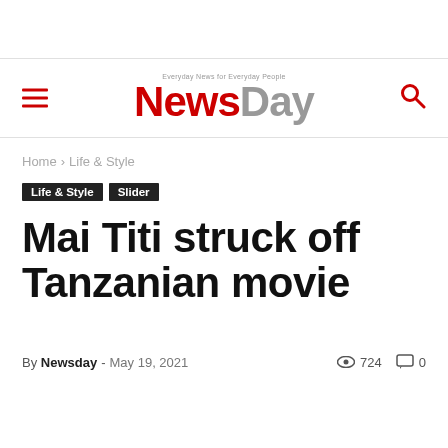Everyday News for Everyday People — NewsDay
Home › Life & Style
Life & Style
Slider
Mai Titi struck off Tanzanian movie
By Newsday - May 19, 2021   724   0